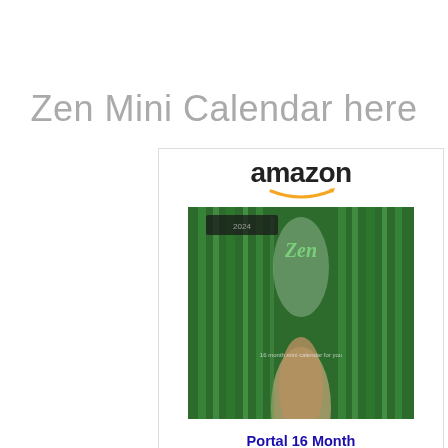Zen Mini Calendar here
[Figure (screenshot): Amazon advertisement for Portal 16 Month The Gift of Zen mini calendar. Shows Amazon logo with smile, a product image of a calendar with a bamboo forest path, product title in blue text, and a golden 'Shop now' button with Amazon icon.]